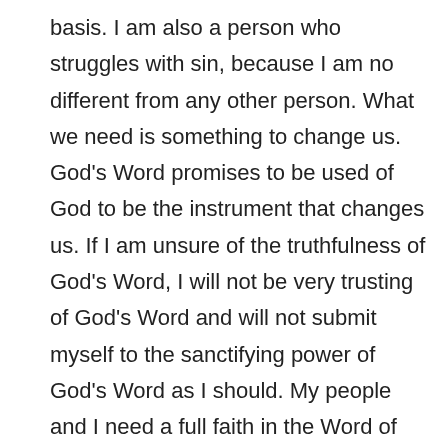basis. I am also a person who struggles with sin, because I am no different from any other person. What we need is something to change us. God's Word promises to be used of God to be the instrument that changes us. If I am unsure of the truthfulness of God's Word, I will not be very trusting of God's Word and will not submit myself to the sanctifying power of God's Word as I should. My people and I need a full faith in the Word of God so that our lives will be changed by God. We struggle with sinful habits, sinful thoughts, addictions, immorality, and ungodliness. We need to be able to trust God's Word and His